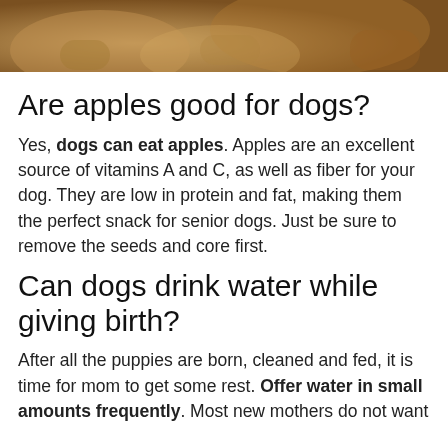[Figure (photo): Photo of dogs (pregnant and lactating) with overlay text 'PREGNANT AND LACTATING' in white bold uppercase letters]
Are apples good for dogs?
Yes, dogs can eat apples. Apples are an excellent source of vitamins A and C, as well as fiber for your dog. They are low in protein and fat, making them the perfect snack for senior dogs. Just be sure to remove the seeds and core first.
Can dogs drink water while giving birth?
After all the puppies are born, cleaned and fed, it is time for mom to get some rest. Offer water in small amounts frequently. Most new mothers do not want